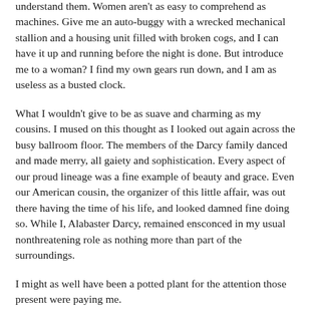understand them. Women aren't as easy to comprehend as machines. Give me an auto-buggy with a wrecked mechanical stallion and a housing unit filled with broken cogs, and I can have it up and running before the night is done. But introduce me to a woman? I find my own gears run down, and I am as useless as a busted clock.
What I wouldn't give to be as suave and charming as my cousins. I mused on this thought as I looked out again across the busy ballroom floor. The members of the Darcy family danced and made merry, all gaiety and sophistication. Every aspect of our proud lineage was a fine example of beauty and grace. Even our American cousin, the organizer of this little affair, was out there having the time of his life, and looked damned fine doing so. While I, Alabaster Darcy, remained ensconced in my usual nonthreatening role as nothing more than part of the surroundings.
I might as well have been a potted plant for the attention those present were paying me.
Pausing in my self-loathing long enough to gulp the remains